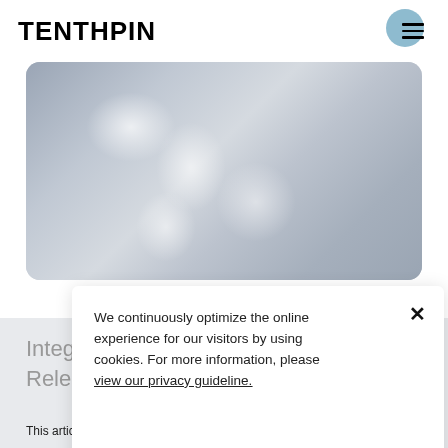TENTHPIN
[Figure (photo): Blurred gray-blue hero image with soft white light spots, rounded corners]
Integ... Relea...
We continuously optimize the online experience for our visitors by using cookies. For more information, please view our privacy guideline.
This article will explore the combined use case of